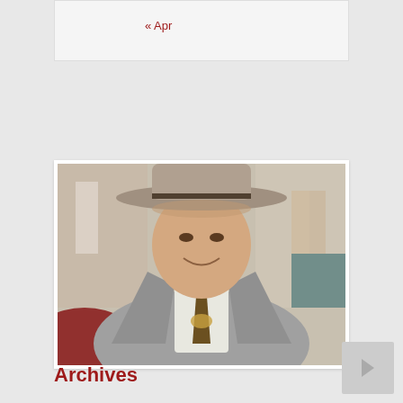« Apr
[Figure (photo): A man wearing a light grey fedora hat and grey suit with a patterned tie, smiling while seated in what appears to be a vintage convertible car. People visible in the blurred background.]
Archives